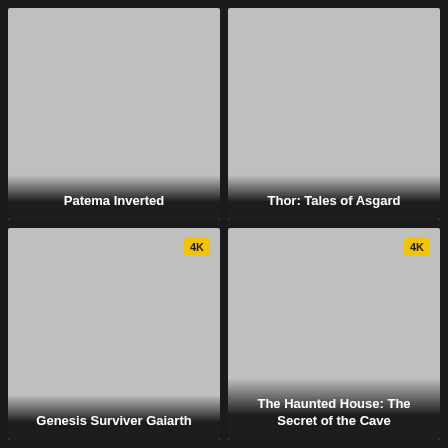[Figure (illustration): Movie thumbnail placeholder for Patema Inverted, gray rectangle with title overlay at bottom]
Patema Inverted
[Figure (illustration): Movie thumbnail placeholder for Thor: Tales of Asgard, gray rectangle with title overlay at bottom]
Thor: Tales of Asgard
[Figure (illustration): Movie thumbnail placeholder for Genesis Surviver Gaiarth, gray rectangle with 4K badge top right and title overlay at bottom]
Genesis Surviver Gaiarth
[Figure (illustration): Movie thumbnail placeholder for The Haunted House: The Secret of the Cave, gray rectangle with 4K badge top right and title overlay at bottom]
The Haunted House: The Secret of the Cave